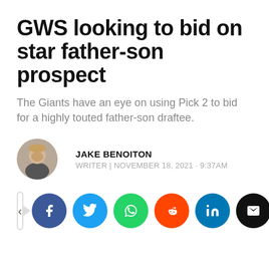GWS looking to bid on star father-son prospect
The Giants have an eye on using Pick 2 to bid for a highly touted father-son draftee.
JAKE BENOITON
WRITER | NOVEMBER 18, 2021 · 9:37AM
[Figure (infographic): Social share buttons row: share icon box, Facebook, Twitter, WhatsApp, Reddit, LinkedIn, Email]